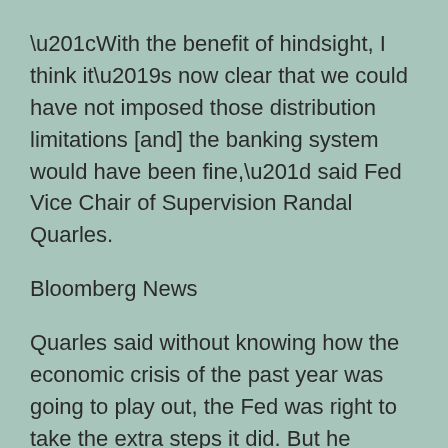“With the benefit of hindsight, I think it’s now clear that we could have not imposed those distribution limitations [and] the banking system would have been fine,” said Fed Vice Chair of Supervision Randal Quarles.
Bloomberg News
Quarles said without knowing how the economic crisis of the past year was going to play out, the Fed was right to take the extra steps it did. But he suggested that current analyses of the economic environment show that those steps were not required.